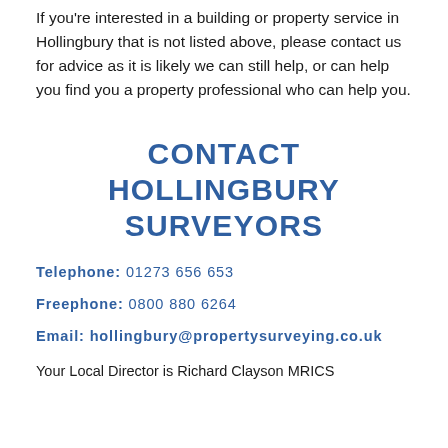If you're interested in a building or property service in Hollingbury that is not listed above, please contact us for advice as it is likely we can still help, or can help you find you a property professional who can help you.
CONTACT HOLLINGBURY SURVEYORS
Telephone: 01273 656 653
Freephone: 0800 880 6264
Email: hollingbury@propertysurveying.co.uk
Your Local Director is Richard Clayson MRICS